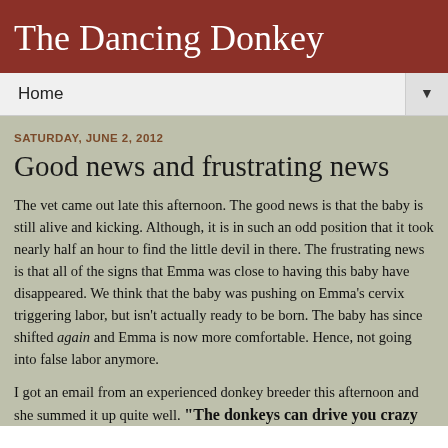The Dancing Donkey
Home
SATURDAY, JUNE 2, 2012
Good news and frustrating news
The vet came out late this afternoon.  The good news is that the baby is still alive and kicking.  Although, it is in such an odd position that it took nearly half an hour to find the little devil in there.  The frustrating news is that all of the signs that Emma was close to having this baby have disappeared.  We think that the baby was pushing on Emma's cervix triggering labor, but isn't actually ready to be born.  The baby has since shifted again and Emma is now more comfortable.  Hence, not going into false labor anymore.
I got an email from an experienced donkey breeder this afternoon and she summed it up quite well.  "The donkeys can drive you crazy